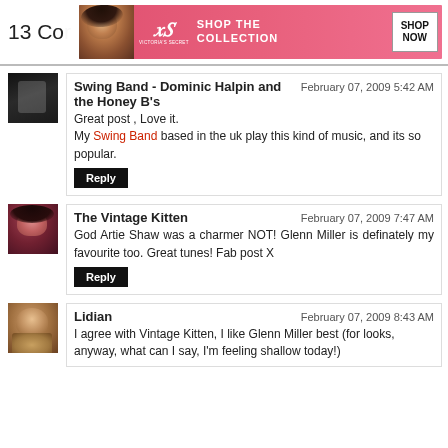13 Co[mments]
[Figure (photo): Victoria's Secret advertisement banner with model, VS logo, 'SHOP THE COLLECTION' text, and 'SHOP NOW' button]
Swing Band - Dominic Halpin and the Honey B's
February 07, 2009 5:42 AM
Great post , Love it.
My Swing Band based in the uk play this kind of music, and its so popular.
Reply
The Vintage Kitten
February 07, 2009 7:47 AM
God Artie Shaw was a charmer NOT! Glenn Miller is definately my favourite too. Great tunes! Fab post X
Reply
Lidian
February 07, 2009 8:43 AM
I agree with Vintage Kitten, I like Glenn Miller best (for looks, anyway, what can I say, I'm feeling shallow today!)